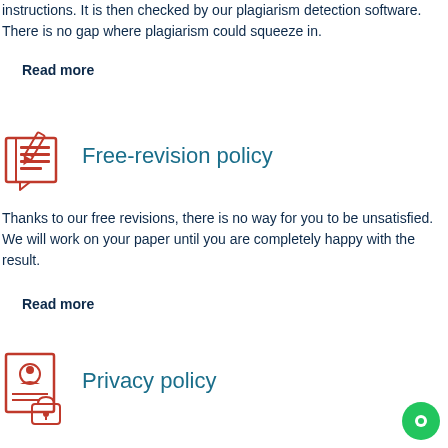instructions. It is then checked by our plagiarism detection software. There is no gap where plagiarism could squeeze in.
Read more
[Figure (illustration): Icon of a notebook with red lines and a pencil, representing writing/revision]
Free-revision policy
Thanks to our free revisions, there is no way for you to be unsatisfied. We will work on your paper until you are completely happy with the result.
Read more
[Figure (illustration): Icon of a document with a person/seal and a padlock, representing privacy policy]
Privacy policy